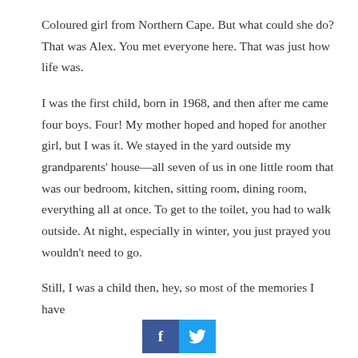Coloured girl from Northern Cape. But what could she do? That was Alex. You met everyone here. That was just how life was.
I was the first child, born in 1968, and then after me came four boys. Four! My mother hoped and hoped for another girl, but I was it. We stayed in the yard outside my grandparents' house—all seven of us in one little room that was our bedroom, kitchen, sitting room, dining room, everything all at once. To get to the toilet, you had to walk outside. At night, especially in winter, you just prayed you wouldn't need to go.
Still, I was a child then, hey, so most of the memories I have
[Figure (other): Social media sharing buttons: Facebook (blue square with 'f') and Twitter (light blue square with bird icon)]